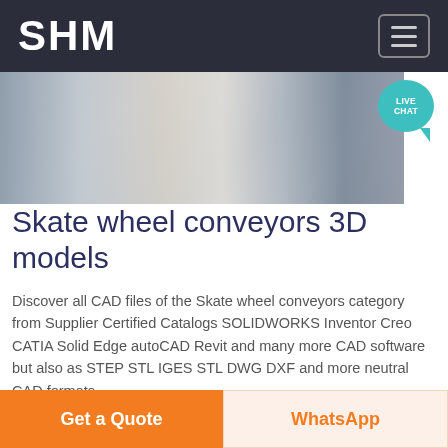SHM
[Figure (photo): Industrial machinery/conveyor equipment photo with pipes and mechanical components]
Skate wheel conveyors 3D models
Discover all CAD files of the Skate wheel conveyors category from Supplier Certified Catalogs SOLIDWORKS Inventor Creo CATIA Solid Edge autoCAD Revit and many more CAD software but also as STEP STL IGES STL DWG DXF and more neutral CAD formats.
Chat Online
[Figure (screenshot): Partial chat window preview]
Get a Quote
WhatsApp